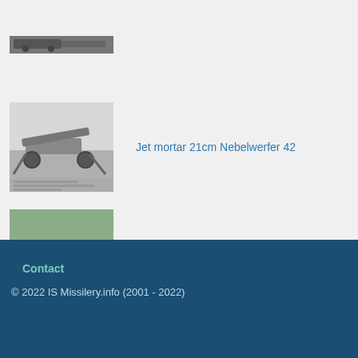[Figure (photo): Partial view of a military vehicle with equipment, black and white photo, cropped at top]
[Figure (photo): Black and white photo of Jet mortar 21cm Nebelwerfer 42 artillery piece on wheeled carriage]
Jet mortar 21cm Nebelwerfer 42
[Figure (photo): Color photo of Installation of T123 rocket launcher on wheeled carriage, painted green, outdoors]
Installation of T123
Contact
© 2022 IS Missilery.info (2001 - 2022)